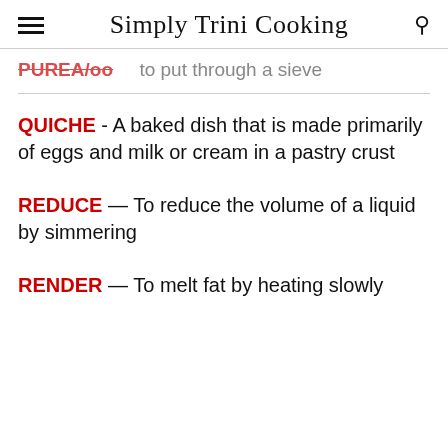Simply Trini Cooking
PUREA/oo — to put through a sieve
QUICHE - A baked dish that is made primarily of eggs and milk or cream in a pastry crust
REDUCE — To reduce the volume of a liquid by simmering
RENDER — To melt fat by heating slowly